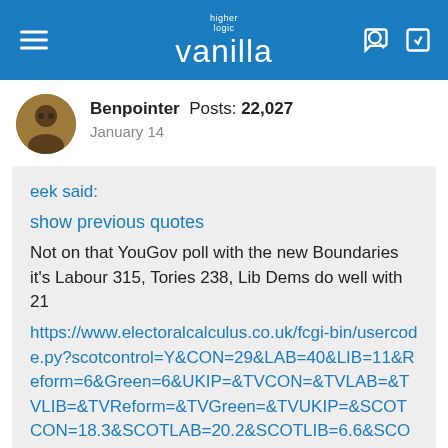higher logic vanilla
Benpointer  Posts: 22,027
January 14
eek said:
show previous quotes
Not on that YouGov poll with the new Boundaries it's Labour 315, Tories 238, Lib Dems do well with 21
https://www.electoralcalculus.co.uk/fcgi-bin/usercode.py?scotcontrol=Y&amp;CON=29&amp;LAB=40&amp;LIB=11&amp;Reform=6&amp;Green=6&amp;UKIP=&amp;TVCON=&amp;TVLAB=&amp;TVLIB=&amp;TVReform=&amp;TVGreen=&amp;TVUKIP=&amp;SCOTCON=18.3&amp;SCOTLAB=20.2&amp;SCOTLIB=6.6&amp;SCOTReform=0.9&amp;SCOTGreen=3